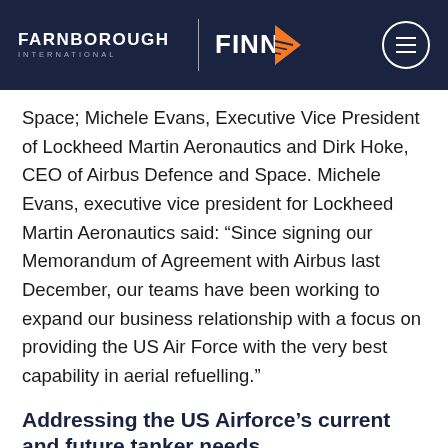Farnborough International | FINN
Space; Michele Evans, Executive Vice President of Lockheed Martin Aeronautics and Dirk Hoke, CEO of Airbus Defence and Space. Michele Evans, executive vice president for Lockheed Martin Aeronautics said: “Since signing our Memorandum of Agreement with Airbus last December, our teams have been working to expand our business relationship with a focus on providing the US Air Force with the very best capability in aerial refuelling.”
Addressing the US Airforce’s current and future tanker needs
She added: “We believe with Airbus’ and Lockheed Martin’s expertise in air refuelling and innovative, combat-tested technologies such as low…